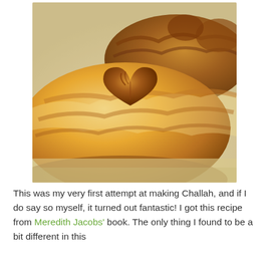[Figure (photo): Close-up photograph of two golden-brown braided Challah breads on a light surface. The foreground loaf is large and golden, with a heart-shaped dark brown bun on top. The background shows another smaller braided loaf.]
This was my very first attempt at making Challah, and if I do say so myself, it turned out fantastic! I got this recipe from Meredith Jacobs' book. The only thing I found to be a bit different in this